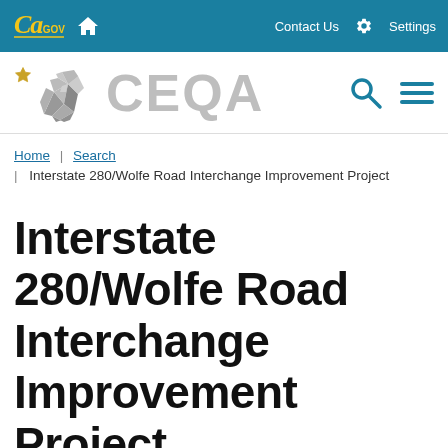CA.GOV | Home | Contact Us | Settings
[Figure (logo): California CEQA website logo with bear icon and CEQA text, plus search and menu icons]
Home | Search | Interstate 280/Wolfe Road Interchange Improvement Project
Interstate 280/Wolfe Road Interchange Improvement Project